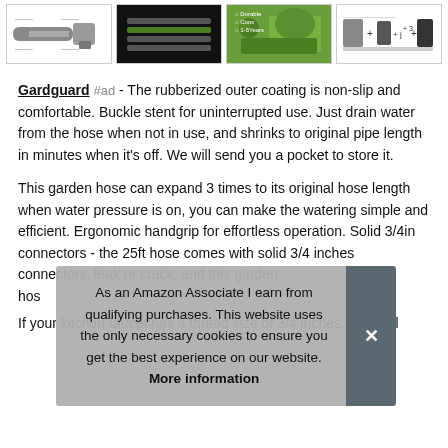[Figure (screenshot): Row of four product thumbnail images for garden hose products]
Gardguard #ad - The rubberized outer coating is non-slip and comfortable. Buckle stent for uninterrupted use. Just drain water from the hose when not in use, and shrinks to original pipe length in minutes when it's off. We will send you a pocket to store it.
This garden hose can expand 3 times to its original hose length when water pressure is on, you can make the watering simple and efficient. Ergonomic handgrip for effortless operation. Solid 3/4in connectors - the 25ft hose comes with solid 3/4 inches connectors, leak or crack, and this garden hos
As an Amazon Associate I earn from qualifying purchases. This website uses the only necessary cookies to ensure you get the best experience on our website. More information
If your kitchen faucet has a thread size of 3/4 inches, they will